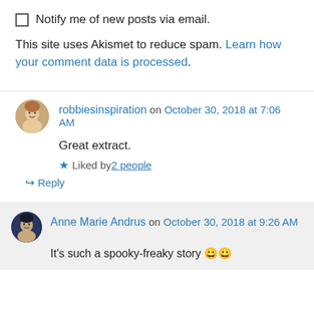Notify me of new posts via email.
This site uses Akismet to reduce spam. Learn how your comment data is processed.
robbiesinspiration on October 30, 2018 at 7:06 AM
Great extract.
Liked by 2 people
Reply
Anne Marie Andrus on October 30, 2018 at 9:26 AM
It's such a spooky-freaky story 😀😀